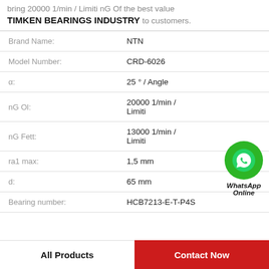bring 20000 1/min / Limiti nG Of the best value TIMKEN BEARINGS INDUSTRY to customers.
| Property | Value |
| --- | --- |
| Brand Name: | NTN |
| Model Number: | CRD-6026 |
| α: | 25 ° / Angle |
| nG Ol: | 20000 1/min / Limiti |
| nG Fett: | 13000 1/min / Limiti |
| ra1 max: | 1,5 mm |
| d: | 65 mm |
| Bearing number: | HCB7213-E-T-P4S |
[Figure (logo): WhatsApp Online green phone icon bubble with label 'WhatsApp Online']
All Products
Contact Now